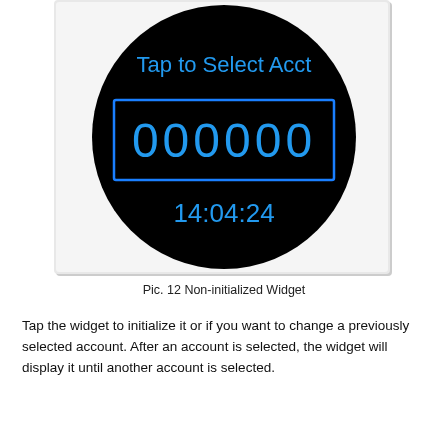[Figure (screenshot): A smartwatch screen showing a non-initialized widget. The circular black screen displays 'Tap to Select Acct' in blue text at the top, a blue-bordered rectangle with '000000' in large blue digits in the center, and '14:04:24' in blue text at the bottom.]
Pic. 12 Non-initialized Widget
Tap the widget to initialize it or if you want to change a previously selected account. After an account is selected, the widget will display it until another account is selected.